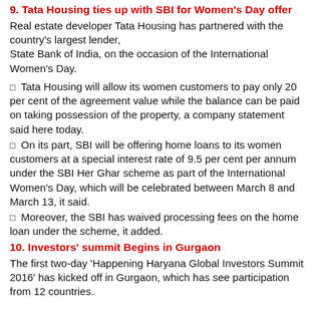9. Tata Housing ties up with SBI for Women's Day offer
Real estate developer Tata Housing has partnered with the country's largest lender, State Bank of India, on the occasion of the International Women's Day.
Tata Housing will allow its women customers to pay only 20 per cent of the agreement value while the balance can be paid on taking possession of the property, a company statement said here today.
On its part, SBI will be offering home loans to its women customers at a special interest rate of 9.5 per cent per annum under the SBI Her Ghar scheme as part of the International Women's Day, which will be celebrated between March 8 and March 13, it said.
Moreover, the SBI has waived processing fees on the home loan under the scheme, it added.
10. Investors' summit Begins in Gurgaon
The first two-day 'Happening Haryana Global Investors Summit 2016' has kicked off in Gurgaon, which has see participation from 12 countries.